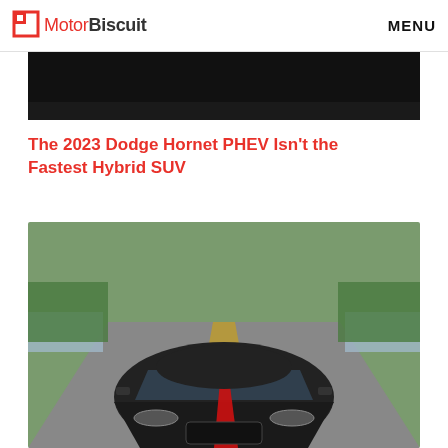MotorBiscuit   MENU
[Figure (photo): Dark/black top portion of a car or dark background image strip]
The 2023 Dodge Hornet PHEV Isn't the Fastest Hybrid SUV
[Figure (photo): Front view of a dark/black 2023 Dodge Hornet driving on a bridge road with a red center stripe on the hood]